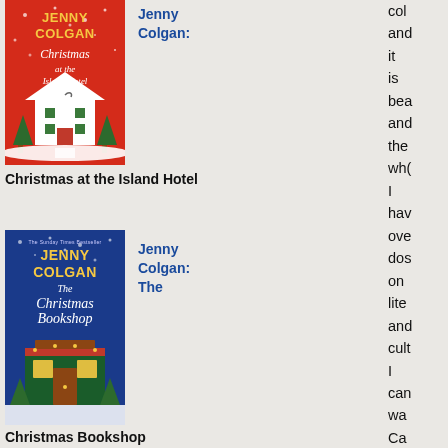[Figure (illustration): Book cover: Jenny Colgan - Christmas at the Island Hotel, red background with illustrated hotel in snow]
Jenny Colgan:
Christmas at the Island Hotel
[Figure (illustration): Book cover: Jenny Colgan - The Christmas Bookshop, blue background with illustrated bookshop]
Jenny Colgan: The
Christmas Bookshop
[Figure (illustration): Book cover: Jenny Colgan - (third book), purple/lavender background]
Jenny Colgan:
col
anc
it
is
bea
anc
the
wh(
I
hav
ove
dos
on
lite
anc
cult
I
can
wa
Ca
anc
Lac
a